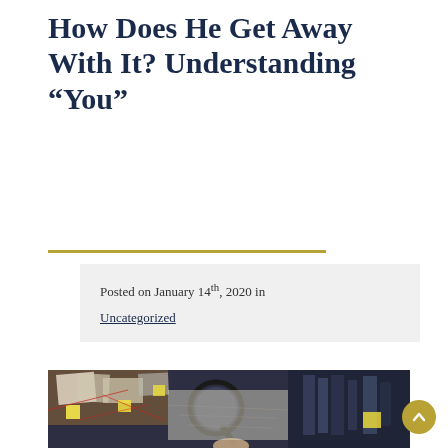How Does He Get Away With It? Understanding “You”
Posted on January 14th, 2020 in
Uncategorized
[Figure (photo): A hand holding a magnifying glass in front of a detective investigation board covered with papers, photos, red string connections, and sticky notes in a dark-toned room.]